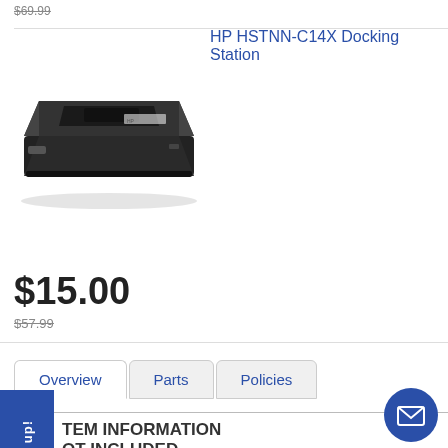$69.99
HP HSTNN-C14X Docking Station
[Figure (photo): Photo of HP HSTNN-C14X Docking Station, a black rectangular laptop docking station viewed from an angle]
$15.00
$57.99
Overview
Parts
Policies
Sign up!
ITEM INFORMATION
NOT INCLUDED